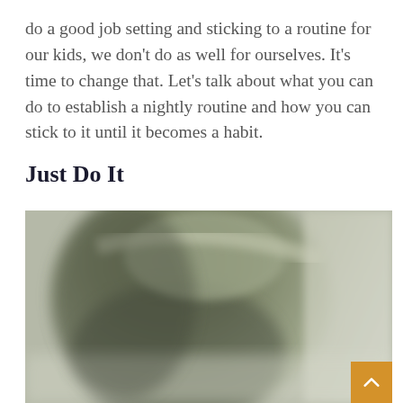do a good job setting and sticking to a routine for our kids, we don't do as well for ourselves. It's time to change that. Let's talk about what you can do to establish a nightly routine and how you can stick to it until it becomes a habit.
Just Do It
[Figure (photo): Blurred close-up photograph of a muted olive-green ceramic or pottery bowl/object with soft lighting and subtle shadows, partially cropped.]